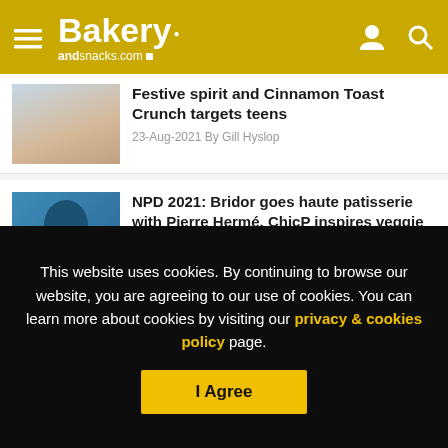Bakery andsnacks.com
Festive spirit and Cinnamon Toast Crunch targets teens
23-Aug-2021 By Gill Hyslop
NPD 2021: Bridor goes haute patisserie with Pierre Hermé, ChicP inspires veggie upcycling and Country Archer issues a cheeky call out
09-Aug-2021 By Gill Hyslop
This website uses cookies. By continuing to browse our website, you are agreeing to our use of cookies. You can learn more about cookies by visiting our privacy & cookies policy page.